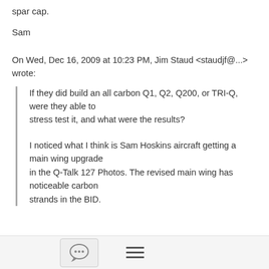spar cap.
Sam
On Wed, Dec 16, 2009 at 10:23 PM, Jim Staud <staudjf@...> wrote:
If they did build an all carbon Q1, Q2, Q200, or TRI-Q, were they able to stress test it, and what were the results?
I noticed what I think is Sam Hoskins aircraft getting a main wing upgrade in the Q-Talk 127 Photos. The revised main wing has noticeable carbon strands in the BID.
[Figure (other): Toolbar with chat bubble icon button and hamburger menu icon]